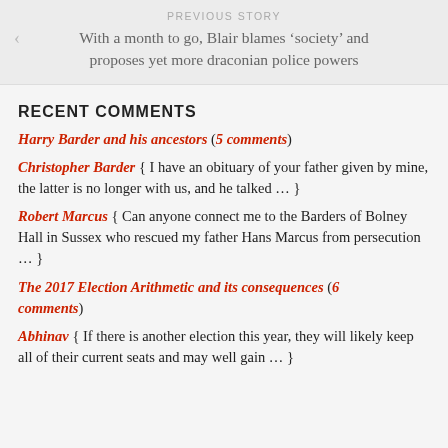PREVIOUS STORY
With a month to go, Blair blames ‘society’ and proposes yet more draconian police powers
RECENT COMMENTS
Harry Barder and his ancestors (5 comments)
Christopher Barder { I have an obituary of your father given by mine, the latter is no longer with us, and he talked … }
Robert Marcus { Can anyone connect me to the Barders of Bolney Hall in Sussex who rescued my father Hans Marcus from persecution … }
The 2017 Election Arithmetic and its consequences (6 comments)
Abhinav { If there is another election this year, they will likely keep all of their current seats and may well gain … }